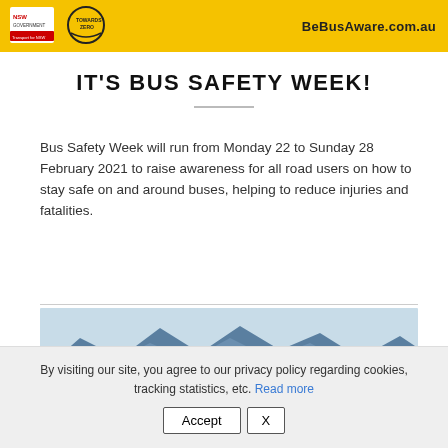BeBusAware.com.au
IT'S BUS SAFETY WEEK!
Bus Safety Week will run from Monday 22 to Sunday 28 February 2021 to raise awareness for all road users on how to stay safe on and around buses, helping to reduce injuries and fatalities.
[Figure (photo): Landscape photo showing mountains with green foreground and blue sky]
By visiting our site, you agree to our privacy policy regarding cookies, tracking statistics, etc. Read more
Accept | X